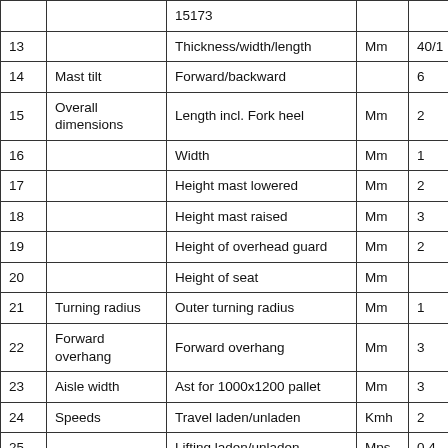| # | Category | Description | Unit | Value |
| --- | --- | --- | --- | --- |
|  |  | 15173 |  |  |
| 13 |  | Thickness/width/length | Mm | 40/1... |
| 14 | Mast tilt | Forward/backward |  | 6... |
| 15 | Overall dimensions | Length incl. Fork heel | Mm | 2... |
| 16 |  | Width | Mm | 1... |
| 17 |  | Height mast lowered | Mm | 2... |
| 18 |  | Height mast raised | Mm | 3... |
| 19 |  | Height of overhead guard | Mm | 2... |
| 20 |  | Height of seat | Mm |  |
| 21 | Turning radius | Outer turning radius | Mm | 1... |
| 22 | Forward overhang | Forward overhang | Mm | 3... |
| 23 | Aisle width | Ast for 1000x1200 pallet | Mm | 3... |
| 24 | Speeds | Travel laden/unladen | Kmh | 2... |
| 25 |  | Lifting laden/unladen | Mps | 0.4... |